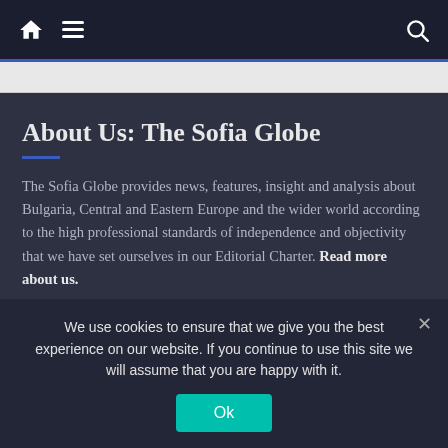Navigation bar with home, menu, and search icons
About Us: The Sofia Globe
The Sofia Globe provides news, features, insight and analysis about Bulgaria, Central and Eastern Europe and the wider world according to the high professional standards of independence and objectivity that we have set ourselves in our Editorial Charter. Read more about us.
Contacts
For editorial, advertising and general inquiries, please e-mail editor@sofiaglobe.com
We use cookies to ensure that we give you the best experience on our website. If you continue to use this site we will assume that you are happy with it.